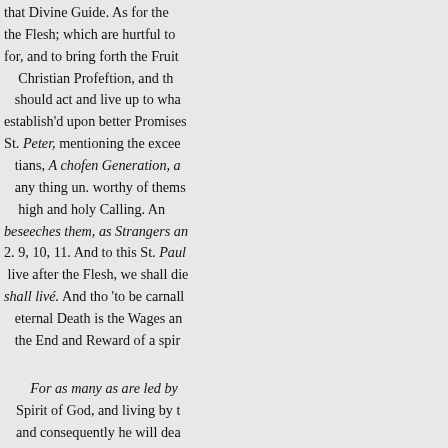that Divine Guide. As for the Flesh; which are hurtful to for, and to bring forth the Fruit Christian Profestion, and th should act and live up to wha establish'd upon better Promises St. Peter, mentioning the excee tians, A chofen Generation, a any thing un. worthy of thems high and holy Calling. An beseeches them, as Strangers an 2. 9, 10, 11. And to this St. Paul live after the Flesh, we shall die shall livé. And tho 'to be carnall eternal Death is the Wages an the End and Reward of a spir
For as many as are led by Spirit of God, and living by t and consequently he will dea Life. And this Sonship we ha of M...